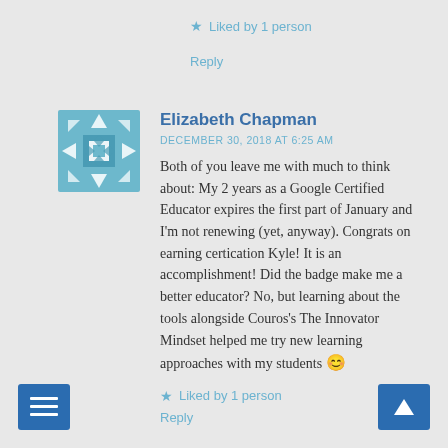★ Liked by 1 person
Reply
[Figure (illustration): Teal/blue decorative geometric avatar icon with snowflake-like pattern]
Elizabeth Chapman
DECEMBER 30, 2018 AT 6:25 AM
Both of you leave me with much to think about: My 2 years as a Google Certified Educator expires the first part of January and I'm not renewing (yet, anyway). Congrats on earning certication Kyle! It is an accomplishment! Did the badge make me a better educator? No, but learning about the tools alongside Couros's The Innovator Mindset helped me try new learning approaches with my students 😊
★ Liked by 1 person
Reply